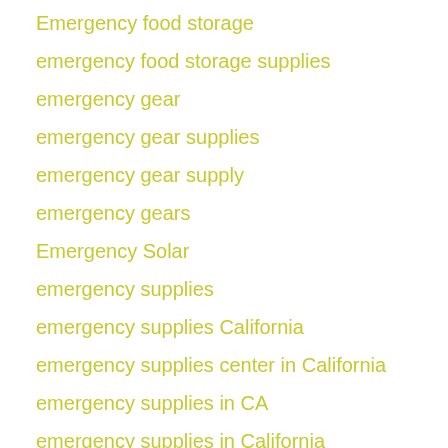Emergency food storage
emergency food storage supplies
emergency gear
emergency gear supplies
emergency gear supply
emergency gears
Emergency Solar
emergency supplies
emergency supplies California
emergency supplies center in California
emergency supplies in CA
emergency supplies in California
emergency water storage
emergency water storage and filtration